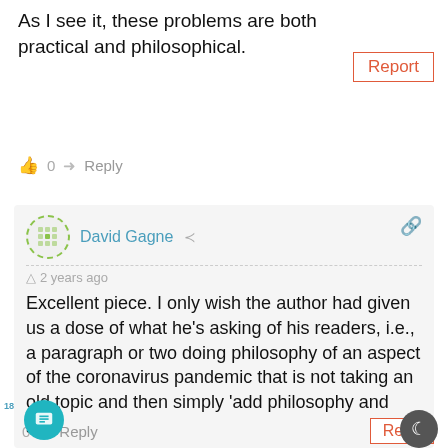such potential costs and benefits.
As I see it, these problems are both practical and philosophical.
Report
👍 0  ➜ Reply
David Gagne
2 years ago
Excellent piece. I only wish the author had given us a dose of what he's asking of his readers, i.e., a paragraph or two doing philosophy of an aspect of the coronavirus pandemic that is not taking an old topic and then simply 'add philosophy and stir.'
0  ➜ Reply
Report